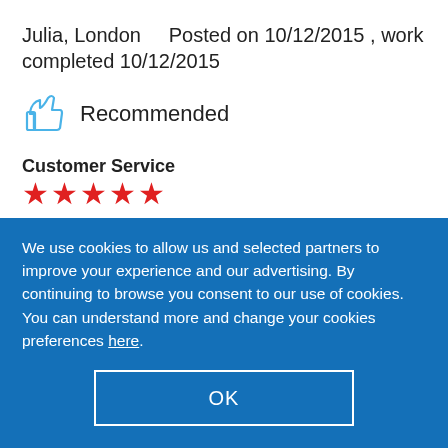Julia, London    Posted on 10/12/2015 , work completed 10/12/2015
[Figure (illustration): Blue thumbs up icon with text 'Recommended']
Customer Service
[Figure (other): 5 red stars rating for Customer Service]
Quality
[Figure (other): 5 red stars rating for Quality]
We use cookies to allow us and selected partners to improve your experience and our advertising. By continuing to browse you consent to our use of cookies. You can understand more and change your cookies preferences here.